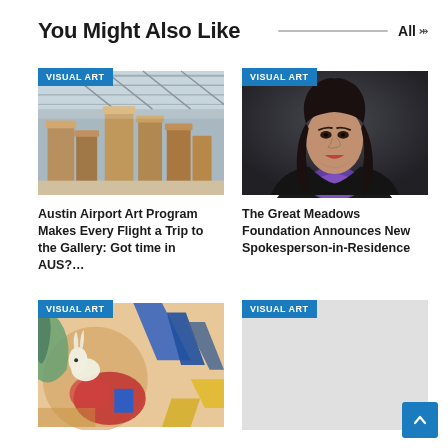You Might Also Like
[Figure (photo): Photo of Austin Airport interior with large wooden sculptural installations, industrial ceiling structure visible.]
Austin Airport Art Program Makes Every Flight a Trip to the Gallery: Got time in AUS?…
[Figure (photo): Portrait photo of a woman with dark hair wearing a black jacket, against a dark gray background.]
The Great Meadows Foundation Announces New Spokesperson-in-Residence
[Figure (photo): Colorful abstract painting with animal and geometric shapes in red, blue, green, and yellow hues.]
[Figure (photo): Light gray placeholder image with VISUAL ART badge.]